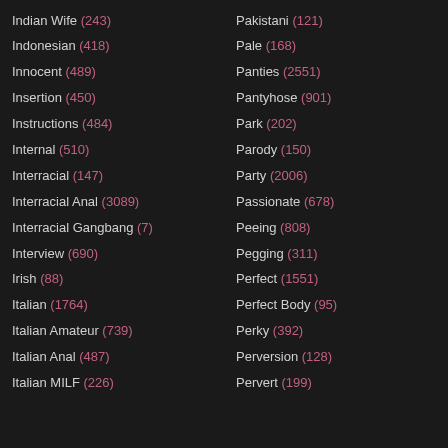Indian Wife (243)
Pakistani (121)
Indonesian (418)
Pale (168)
Innocent (489)
Panties (2551)
Insertion (450)
Pantyhose (901)
Instructions (484)
Park (202)
Internal (510)
Parody (150)
Interracial (147)
Party (2006)
Interracial Anal (3089)
Passionate (678)
Interracial Gangbang (7)
Peeing (808)
Interview (690)
Pegging (311)
Irish (88)
Perfect (1551)
Italian (1764)
Perfect Body (95)
Italian Amateur (739)
Perky (392)
Italian Anal (487)
Perversion (128)
Italian MILF (226)
Pervert (199)